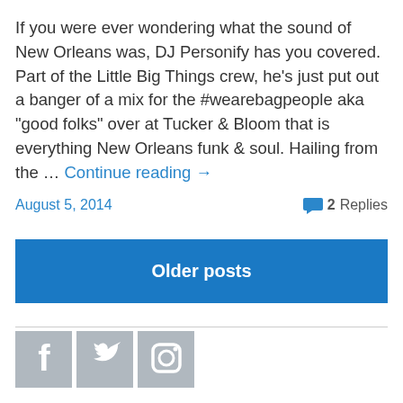If you were ever wondering what the sound of New Orleans was, DJ Personify has you covered. Part of the Little Big Things crew, he's just put out a banger of a mix for the #wearebagpeople aka "good folks" over at Tucker & Bloom that is everything New Orleans funk & soul. Hailing from the … Continue reading →
August 5, 2014
2 Replies
Older posts
[Figure (logo): Social media icons: Facebook, Twitter, Instagram in grey square buttons]